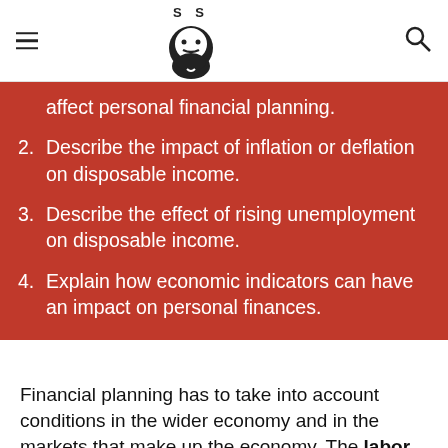SS [logo with beard icon]
affect personal financial planning.
2. Describe the impact of inflation or deflation on disposable income.
3. Describe the effect of rising unemployment on disposable income.
4. Explain how economic indicators can have an impact on personal finances.
Financial planning has to take into account conditions in the wider economy and in the markets that make up the economy. The labor market, for example, is where labor is traded, the…